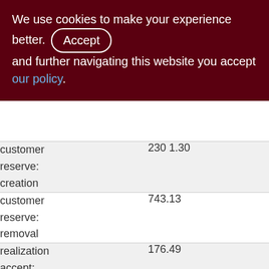We use cookies to make your experience better. By accepting and further navigating this website you accept our policy.
| customer reserve: creation | 230 1.30 |
| customer reserve: removal | 743.13 |
| realization accept: apply | 176.49 |
| realization accept: cancel | 47.83 |
|  | 130.47 |